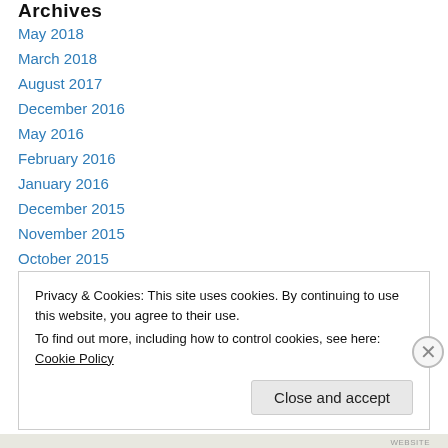Archives
May 2018
March 2018
August 2017
December 2016
May 2016
February 2016
January 2016
December 2015
November 2015
October 2015
September 2015
August 2015
Privacy & Cookies: This site uses cookies. By continuing to use this website, you agree to their use. To find out more, including how to control cookies, see here: Cookie Policy
Close and accept